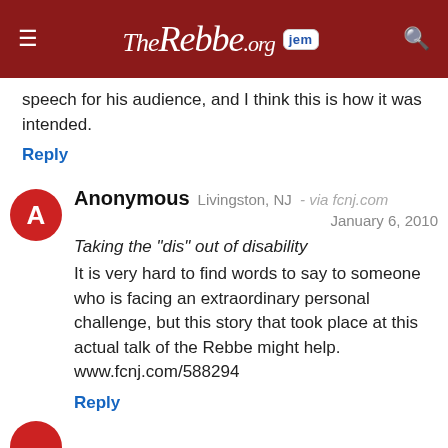TheRebbe.org  jem
speech for his audience, and I think this is how it was intended.
Reply
Anonymous  Livingston, NJ  - via fcnj.com  January 6, 2010
Taking the "dis" out of disability
It is very hard to find words to say to someone who is facing an extraordinary personal challenge, but this story that took place at this actual talk of the Rebbe might help.
www.fcnj.com/588294
Reply